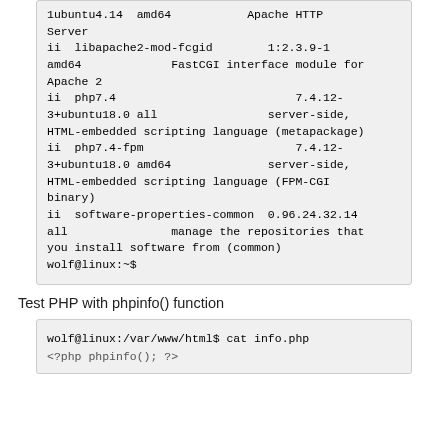1ubuntu4.14  amd64                Apache HTTP Server
ii  libapache2-mod-fcgid         1:2.3.9-1
amd64                  FastCGI interface module for Apache 2
ii  php7.4                              7.4.12-
3+ubuntu18.0 all                  server-side,
HTML-embedded scripting language (metapackage)
ii  php7.4-fpm                         7.4.12-
3+ubuntu18.0 amd64                server-side,
HTML-embedded scripting language (FPM-CGI
binary)
ii  software-properties-common    0.96.24.32.14
all                 manage the repositories that
you install software from (common)
wolf@linux:~$
Test PHP with phpinfo() function
wolf@linux:/var/www/html$ cat info.php
<?php phpinfo(); ?>